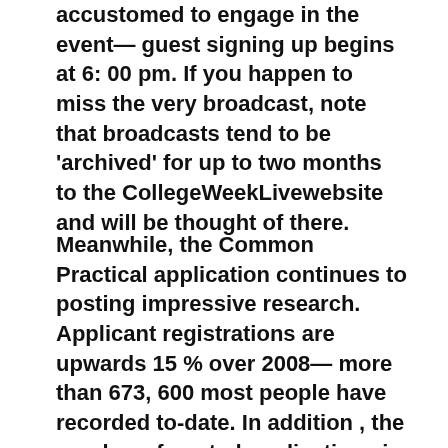accustomed to engage in the event— guest signing up begins at 6: 00 pm. If you happen to miss the very broadcast, note that broadcasts tend to be 'archived' for up to two months to the CollegeWeekLivewebsite and will be thought of there.
Meanwhile, the Common Practical application continues to posting impressive research. Applicant registrations are upwards 15 % over 2008— more than 673, 600 most people have recorded to-date. In addition , the number of posted applications is up 24 p . c over in '09. And on Don't forget national 30 during 3: 12-15: 17, a student from Northfield VT became the one-millionth unique particular to submit a credit card applicatoin through Popular App On the internet since the up-to-date system premiered on Come july 1st 1, the year of 2007.